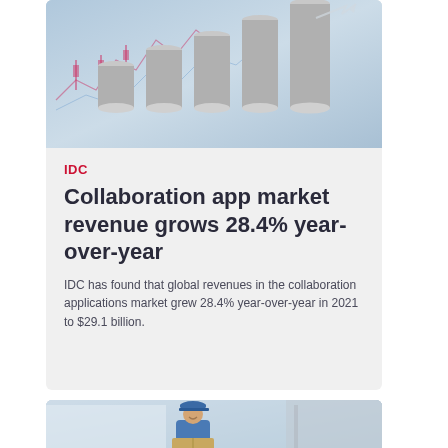[Figure (photo): Photo of stacked coins in ascending order against a financial chart background with red and blue candlestick patterns]
IDC
Collaboration app market revenue grows 28.4% year-over-year
IDC has found that global revenues in the collaboration applications market grew 28.4% year-over-year in 2021 to $29.1 billion.
[Figure (photo): Photo of a delivery person in a blue uniform and cap, smiling, holding a package at a doorstep]